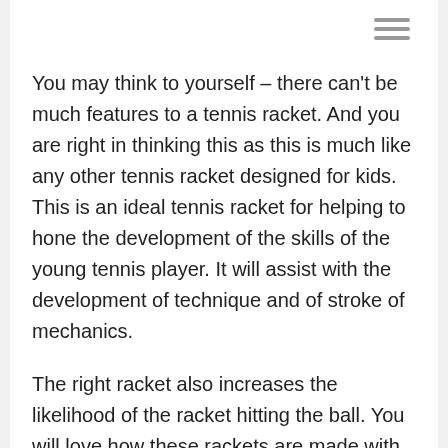You may think to yourself – there can't be much features to a tennis racket. And you are right in thinking this as this is much like any other tennis racket designed for kids. This is an ideal tennis racket for helping to hone the development of the skills of the young tennis player. It will assist with the development of technique and of stroke of mechanics.
The right racket also increases the likelihood of the racket hitting the ball. You will love how these rackets are made with different age groups in mind so that when you choose one it will be the right pick for your child's age, size and capabilities.